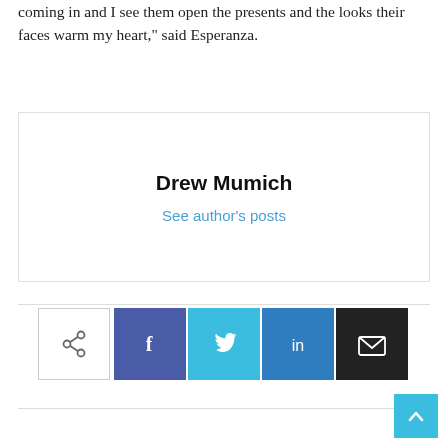coming in and I see them open the presents and the looks their faces warm my heart," said Esperanza.
Drew Mumich
See author's posts
[Figure (infographic): Social share buttons row: share icon (outlined), Facebook (blue), Twitter (light blue), LinkedIn (dark blue), Email (black)]
[Figure (infographic): Scroll to top button (light blue square with upward chevron arrow), bottom right corner]